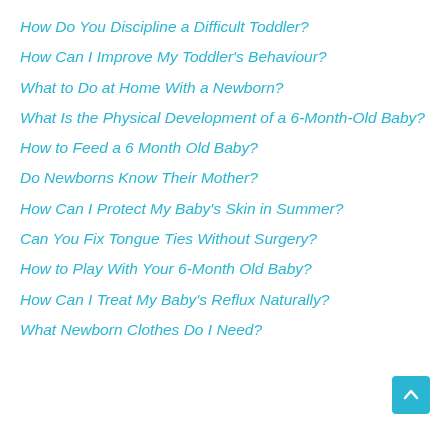How Do You Discipline a Difficult Toddler?
How Can I Improve My Toddler's Behaviour?
What to Do at Home With a Newborn?
What Is the Physical Development of a 6-Month-Old Baby?
How to Feed a 6 Month Old Baby?
Do Newborns Know Their Mother?
How Can I Protect My Baby's Skin in Summer?
Can You Fix Tongue Ties Without Surgery?
How to Play With Your 6-Month Old Baby?
How Can I Treat My Baby's Reflux Naturally?
What Newborn Clothes Do I Need?